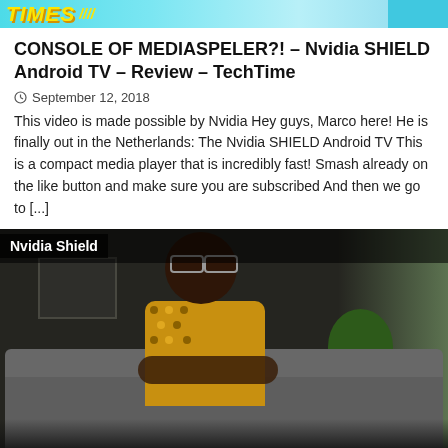[Figure (screenshot): Banner/header image with yellow stylized text on cyan/teal gradient background]
CONSOLE OF MEDIASPELER?! – Nvidia SHIELD Android TV – Review – TechTime
September 12, 2018
This video is made possible by Nvidia Hey guys, Marco here! He is finally out in the Netherlands: The Nvidia SHIELD Android TV This is a compact media player that is incredibly fast! Smash already on the like button and make sure you are subscribed And then we go to [...]
[Figure (screenshot): Video thumbnail showing a person sitting on a grey couch with the label 'Nvidia Shield' at the top left. Background shows a plant and window light. Dark cinematic scene.]